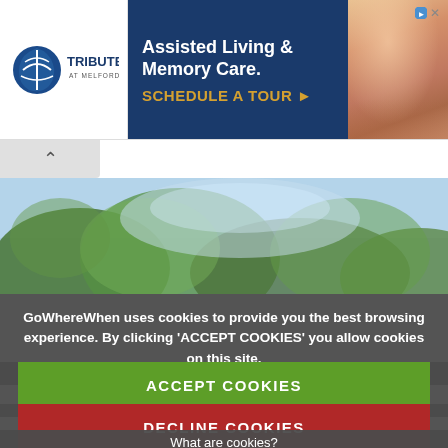[Figure (screenshot): Advertisement banner for Tribute at Melford assisted living and memory care, with logo, blue background, golden CTA 'SCHEDULE A TOUR' and photo of elderly person.]
[Figure (photo): Blurred outdoor background photo showing trees with green foliage against a light blue sky.]
GoWhereWhen uses cookies to provide you the best browsing experience. By clicking 'ACCEPT COOKIES' you allow cookies on this site.
ACCEPT COOKIES
DECLINE COOKIES
What are cookies?